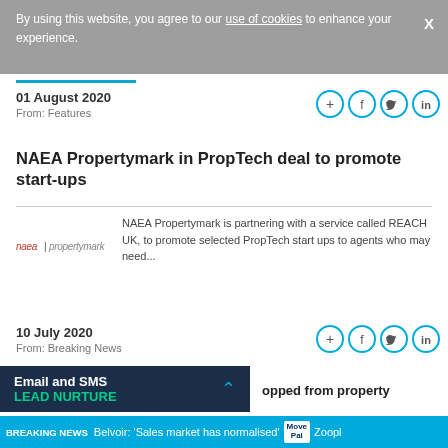By using this website, you agree to our use of cookies to enhance your experience.
01 August 2020
From: Features
NAEA Propertymark in PropTech deal to promote start-ups
[Figure (logo): naea | propertymark logo in red/grey text]
NAEA Propertymark is partnering with a service called REACH UK, to promote selected PropTech start ups to agents who may need...
10 July 2020
From: Breaking News
Email and SMS
LEAD NURTURE
opped from property
BREAKING NEWS  Belvoir: 'Sales market has normalised'  MovePal  Zoopl